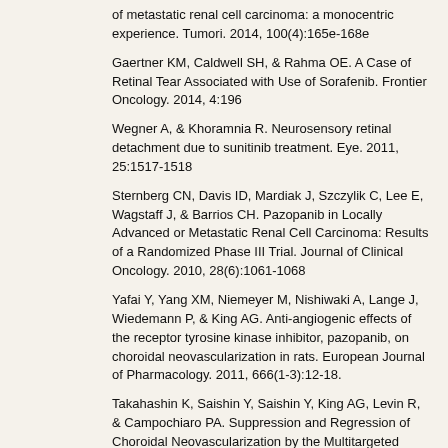of metastatic renal cell carcinoma: a monocentric experience. Tumori. 2014, 100(4):165e-168e
Gaertner KM, Caldwell SH, & Rahma OE. A Case of Retinal Tear Associated with Use of Sorafenib. Frontier Oncology. 2014, 4:196
Wegner A, & Khoramnia R. Neurosensory retinal detachment due to sunitinib treatment. Eye. 2011, 25:1517-1518
Sternberg CN, Davis ID, Mardiak J, Szczylik C, Lee E, Wagstaff J, & Barrios CH. Pazopanib in Locally Advanced or Metastatic Renal Cell Carcinoma: Results of a Randomized Phase III Trial. Journal of Clinical Oncology. 2010, 28(6):1061-1068
Yafai Y, Yang XM, Niemeyer M, Nishiwaki A, Lange J, Wiedemann P, & King AG. Anti-angiogenic effects of the receptor tyrosine kinase inhibitor, pazopanib, on choroidal neovascularization in rats. European Journal of Pharmacology. 2011, 666(1-3):12-18.
Takahashin K, Saishin Y, Saishin Y, King AG, Levin R, & Campochiaro PA. Suppression and Regression of Choroidal Neovascularization by the Multitargeted Kinase Inhibitor Pazopanib. JAMA Opthalmology. 2009, 127(4):494-499
Kumar R, Knick VB, Rudolph SK, Johnson JH, Crosby RM, Crouthamel MC, et al. Pharmacokinetic-pharmacodynamic correlation from mouse to human with pazopanib, a multikinase angiogenesis inhibitor with potent antitumor and antiangiogenic activity. Molecular Cancer Therapy. 2007, 6
Chiang A, Chang L, Yu F, & Sarraf D. Predictors of anti-VEGF-associated retinal pigment epithelial tear using FA